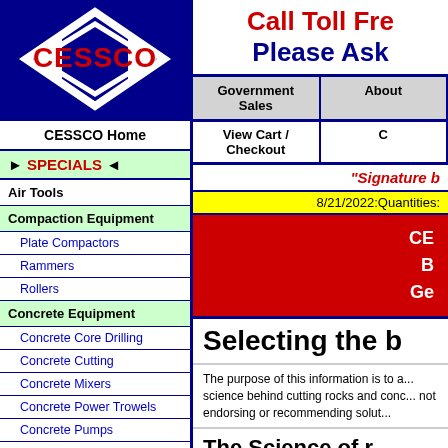[Figure (logo): CESSCO logo: white diamond shapes on navy blue background with red CESSCO text in center]
CESSCO Home
► SPECIALS ◄
Air Tools
Compaction Equipment
Plate Compactors
Rammers
Rollers
Concrete Equipment
Concrete Core Drilling
Concrete Cutting
Concrete Mixers
Concrete Power Trowels
Concrete Pumps
Concrete Scarifiers
Concrete Screeds
Call Toll Fre...
Please Ask...
Government Sales
About...
View Cart / Checkout
C...
"Signature b...
8/21/2022:Quantities:...
CE... B... Ge...
Selecting the b...
The purpose of this information is to a... science behind cutting rocks and conc... not endorsing or recommending solut...
The Science of r...